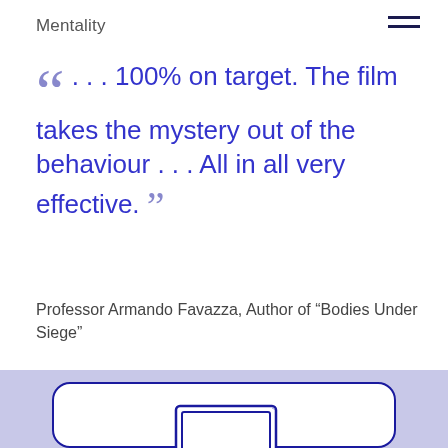Mentality
... 100% on target. The film takes the mystery out of the behaviour ... All in all very effective.
Professor Armando Favazza, Author of “Bodies Under Siege”
[Figure (illustration): Hand-drawn style illustration of a desktop computer with monitor, keyboard, and mouse]
Mental Health Directory